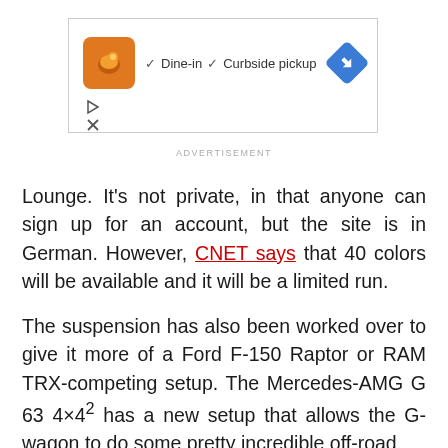[Figure (screenshot): Advertisement banner showing a restaurant logo, checkmarks for Dine-in and Curbside pickup, and a blue direction arrow icon, with play and close icons below]
ADVERTISEMENT
Lounge. It's not private, in that anyone can sign up for an account, but the site is in German. However, CNET says that 40 colors will be available and it will be a limited run.
The suspension has also been worked over to give it more of a Ford F-150 Raptor or RAM TRX-competing setup. The Mercedes-AMG G 63 4×4² has a new setup that allows the G-wagon to do some pretty incredible off-road